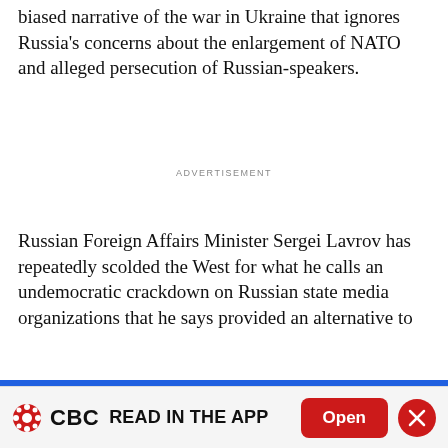biased narrative of the war in Ukraine that ignores Russia's concerns about the enlargement of NATO and alleged persecution of Russian-speakers.
ADVERTISEMENT
Russian Foreign Affairs Minister Sergei Lavrov has repeatedly scolded the West for what he calls an undemocratic crackdown on Russian state media organizations that he says provided an alternative to
Please know that cookies are required to operate and enhance our services as well as for advertising purposes. We value your privacy. If you are not comfortable with us using this information, please review your settings before continuing your visit.
CBC READ IN THE APP  Open